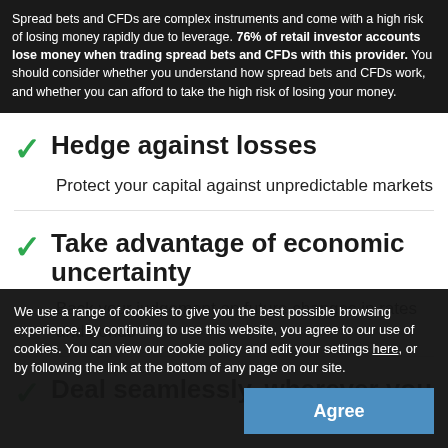Spread bets and CFDs are complex instruments and come with a high risk of losing money rapidly due to leverage. 76% of retail investor accounts lose money when trading spread bets and CFDs with this provider. You should consider whether you understand how spread bets and CFDs work, and whether you can afford to take the high risk of losing your money.
Hedge against losses
Protect your capital against unpredictable markets
Take advantage of economic uncertainty
Back your judgement on future changes in rates and bonds
Deal seamlessly, wherever you are
We use a range of cookies to give you the best possible browsing experience. By continuing to use this website, you agree to our use of cookies. You can view our cookie policy and edit your settings here, or by following the link at the bottom of any page on our site.